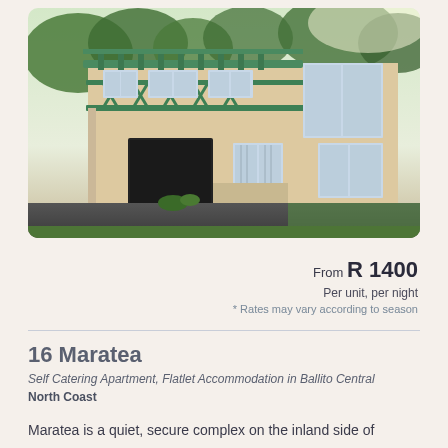[Figure (photo): Two-storey beige apartment building with green pergola/balcony railing, garage, windows with burglar guards, and landscaped driveway. Ballito Central accommodation property photo.]
From R 1400
Per unit, per night
* Rates may vary according to season
16 Maratea
Self Catering Apartment, Flatlet Accommodation in Ballito Central
North Coast
Maratea is a quiet, secure complex on the inland side of